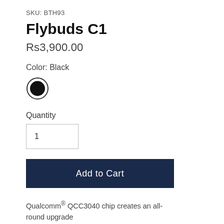SKU: BTH93
Flybuds C1
Rs3,900.00
Color: Black
[Figure (other): Black color swatch circle, selected state with outer ring border]
Quantity
1
Add to Cart
Qualcomm® QCC3040 chip creates an all-round upgrade
Balanced signature sound quality